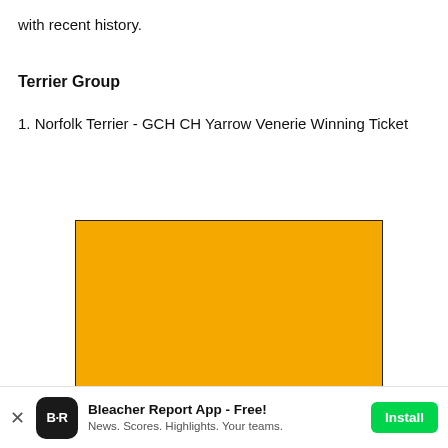with recent history.
Terrier Group
1. Norfolk Terrier - GCH CH Yarrow Venerie Winning Ticket
[Figure (photo): Orange/yellow rectangular image block]
Bleacher Report App - Free! News. Scores. Highlights. Your teams. Install